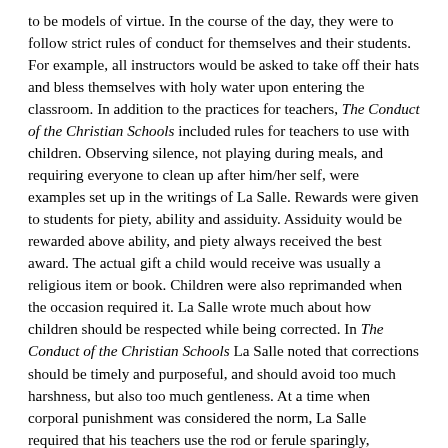to be models of virtue. In the course of the day, they were to follow strict rules of conduct for themselves and their students. For example, all instructors would be asked to take off their hats and bless themselves with holy water upon entering the classroom. In addition to the practices for teachers, The Conduct of the Christian Schools included rules for teachers to use with children. Observing silence, not playing during meals, and requiring everyone to clean up after him/her self, were examples set up in the writings of La Salle. Rewards were given to students for piety, ability and assiduity. Assiduity would be rewarded above ability, and piety always received the best award. The actual gift a child would receive was usually a religious item or book. Children were also reprimanded when the occasion required it. La Salle wrote much about how children should be respected while being corrected. In The Conduct of the Christian Schools La Salle noted that corrections should be timely and purposeful, and should avoid too much harshness, but also too much gentleness. At a time when corporal punishment was considered the norm, La Salle required that his teachers use the rod or ferule sparingly, especially the amount of times a child could be hit with either of these objects.
What will the Curriculum be?
The essential part of the curriculum in the Christian schools was learning prayers and Catechism. Academic subjects such as